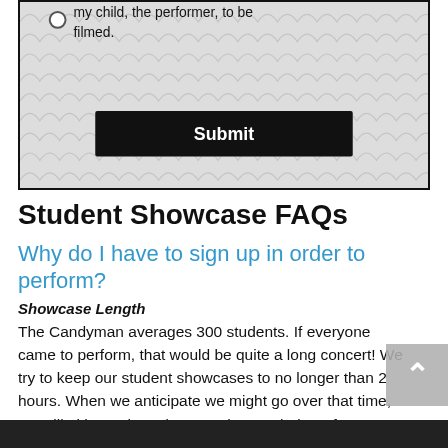[Figure (screenshot): Form box with radio button option 'my child, the performer, to be filmed.' and a black Submit button, on a scallop-patterned background]
Student Showcase FAQs
Why do I have to sign up in order to perform?
Showcase Length
The Candyman averages 300 students. If everyone came to perform, that would be quite a long concert! We try to keep our student showcases to no longer than 2 hours. When we anticipate we might go over that time, we will either ask students to shorten their performance or schedule additional showcases to accommodate all